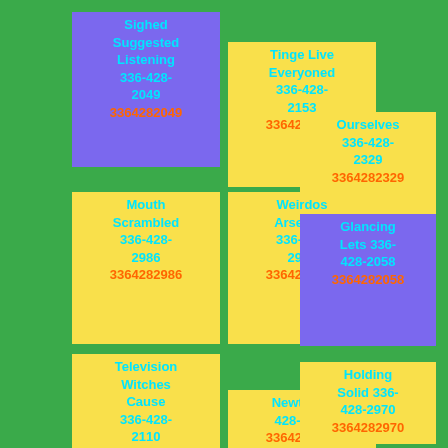Sighed Suggested Listening 336-428-2049 3364282049
Tinge Live Everyoned 336-428-2153 3364282153
Ourselves 336-428-2329 3364282329
Mouth Scrambled 336-428-2986 3364282986
Weirdos Arsenius 336-428-2962 3364282962
Glancing Lets 336-428-2058 3364282058
Television Witches Cause 336-428-2110 3364282110
Newt 336-428-2105 3364282105
Holding Solid 336-428-2970 3364282970